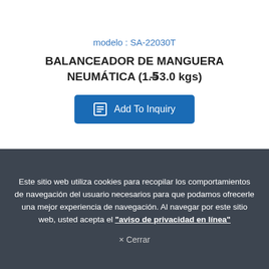modelo : SA-22030T
BALANCEADOR DE MANGUERA NEUMÁTICA (1.5~3.0 kgs)
[Figure (other): Blue 'Add To Inquiry' button with document icon]
Este sitio web utiliza cookies para recopilar los comportamientos de navegación del usuario necesarios para que podamos ofrecerle una mejor experiencia de navegación. Al navegar por este sitio web, usted acepta el "aviso de privacidad en línea"
× Cerrar